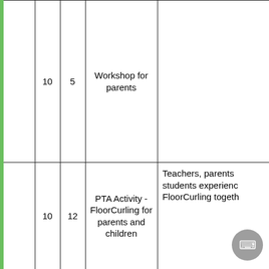|  | 10 | 5 | Workshop for parents |  |
|  | 10 | 12 | PTA Activity - FloorCurling for parents and children | Teachers, parents students experienc FloorCurling togeth |